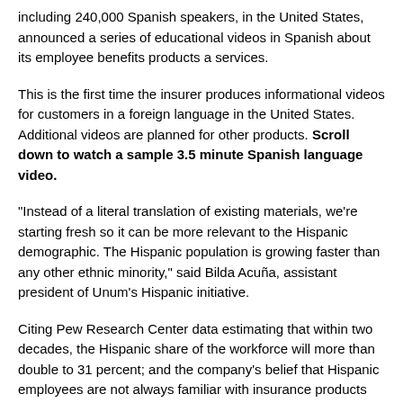including 240,000 Spanish speakers, in the United States, announced a series of educational videos in Spanish about its employee benefits products a services.
This is the first time the insurer produces informational videos for customers in a foreign language in the United States. Additional videos are planned for other products. Scroll down to watch a sample 3.5 minute Spanish language video.
“Instead of a literal translation of existing materials, we’re starting fresh so it can be more relevant to the Hispanic demographic. The Hispanic population is growing faster than any other ethnic minority,” said Bilda Acuña, assistant president of Unum’s Hispanic initiative.
Citing Pew Research Center data estimating that within two decades, the Hispanic share of the workforce will more than double to 31 percent; and the company’s belief that Hispanic employees are not always familiar with insurance products because the benefits were not offered in their country of origin, they believe they are a luxury product or that the benefits are pro